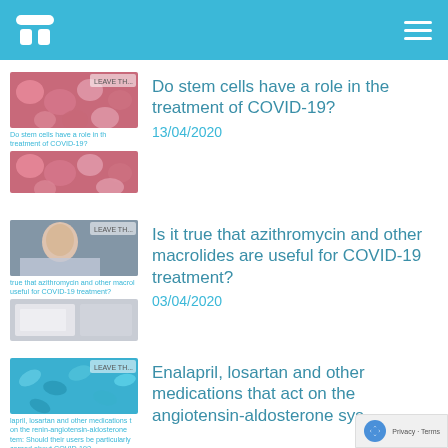[Logo] [Hamburger menu]
Do stem cells have a role in the treatment of COVID-19?
13/04/2020
Is it true that azithromycin and other macrolides are useful for COVID-19 treatment?
03/04/2020
Enalapril, losartan and other medications that act on the angiotensin-aldosterone sys...